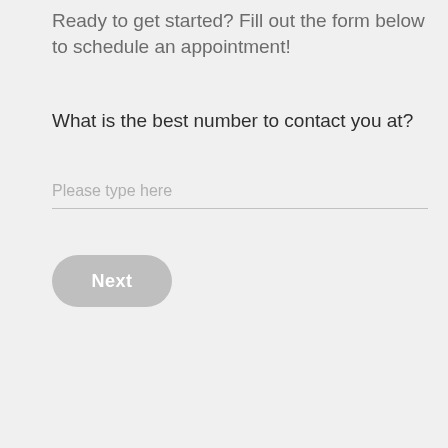Ready to get started? Fill out the form below to schedule an appointment!
What is the best number to contact you at?
Please type here
Next